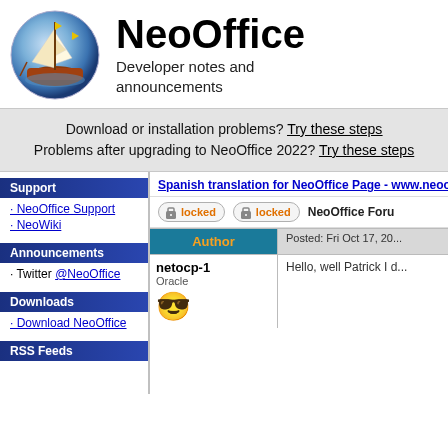[Figure (logo): NeoOffice sailing ship logo in a circular blue gradient badge]
NeoOffice
Developer notes and announcements
Download or installation problems? Try these steps
Problems after upgrading to NeoOffice 2022? Try these steps
Support
· NeoOffice Support
· NeoWiki
Announcements
· Twitter @NeoOffice
Downloads
· Download NeoOffice
RSS Feeds
Spanish translation for NeoOffice Page - www.neoo...
locked  locked  NeoOffice Foru...
| Author |  |
| --- | --- |
| netocp-1
Oracle
😎 | Posted: Fri Oct 17, 20...
Hello, well Patrick I d... |